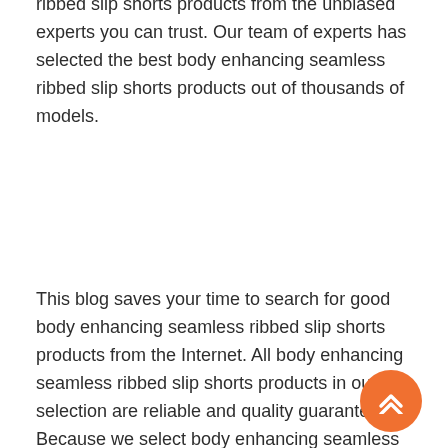ratings and reviews on body enhancing seamless ribbed slip shorts products from the unbiased experts you can trust. Our team of experts has selected the best body enhancing seamless ribbed slip shorts products out of thousands of models.
This blog saves your time to search for good body enhancing seamless ribbed slip shorts products from the Internet. All body enhancing seamless ribbed slip shorts products in our selection are reliable and quality guaranteed. Because we select body enhancing seamless ribbed slip shorts products has the high rating score.
Those body enhancing seamless ribbed slip shorts products which have hundreds of customer